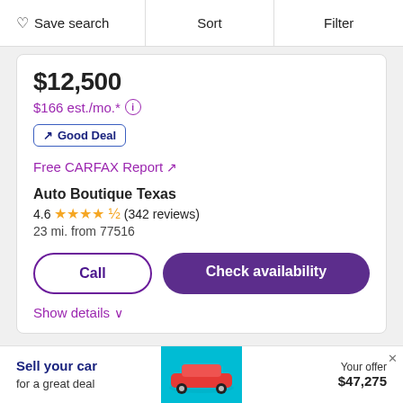Save search | Sort | Filter
$12,500
$166 est./mo.* ⓘ
↗ Good Deal
Free CARFAX Report ↗
Auto Boutique Texas
4.6 ★★★★☆ (342 reviews)
23 mi. from 77516
Call
Check availability
Show details ∨
Sell your car
Your offer $47,275